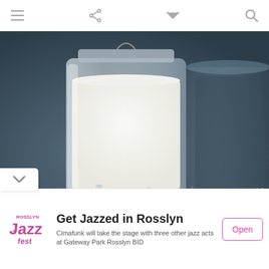Navigation bar with menu, share, dropdown, and search icons
[Figure (photo): Close-up photo of a glass jar filled with white milk on a dark blue-grey surface, with another empty glass jar partially visible in the background]
[Figure (logo): Rosslyn Jazz Fest logo - pink/purple text with musical note]
Get Jazzed in Rosslyn
Cimafunk will take the stage with three other jazz acts at Gateway Park Rosslyn BID